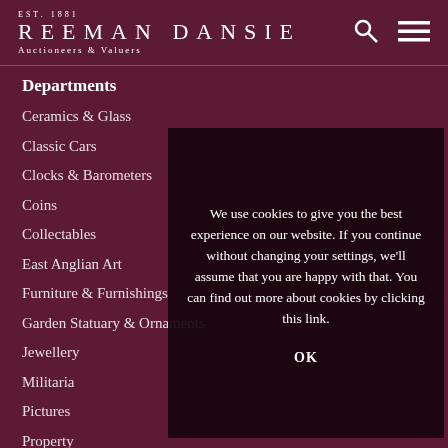EST. 1881 REEMAN DANSIE Auctioneers & Valuers
Departments
Ceramics & Glass
Classic Cars
Clocks & Barometers
Coins
Collectables
East Anglian Art
Furniture & Furnishings
Garden Statuary & Ornaments
Jewellery
Militaria
Pictures
Property
Royal Auctions
We use cookies to give you the best experience on our website. If you continue without changing your settings, we'll assume that you are happy with that. You can find out more about cookies by clicking this link.
OK